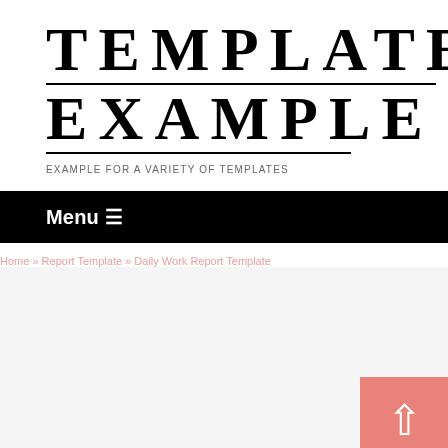TEMPLATES EXAMPLE
EXAMPLE FOR A VARIETY OF TEMPLATES
Menu ≡
Home » Report Template » Daily Work Report Template